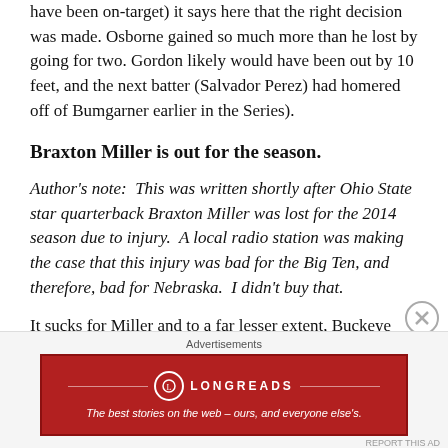have been on-target) it says here that the right decision was made. Osborne gained so much more than he lost by going for two. Gordon likely would have been out by 10 feet, and the next batter (Salvador Perez) had homered off of Bumgarner earlier in the Series).
Braxton Miller is out for the season.
Author's note: This was written shortly after Ohio State star quarterback Braxton Miller was lost for the 2014 season due to injury. A local radio station was making the case that this injury was bad for the Big Ten, and therefore, bad for Nebraska. I didn't buy that.
It sucks for Miller and to a far lesser extent, Buckeye fans. But I just do not feel compelled to feel bad
Advertisements
[Figure (other): Longreads advertisement banner: red background with Longreads logo and tagline 'The best stories on the web — ours, and everyone else's.']